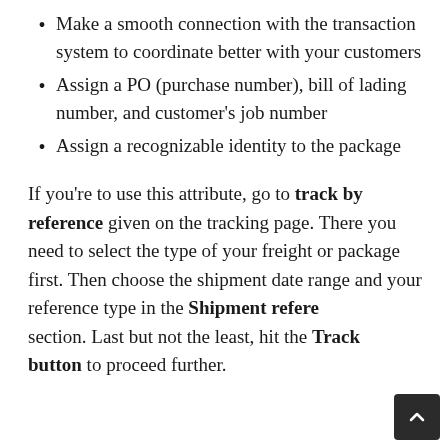Make a smooth connection with the transaction system to coordinate better with your customers
Assign a PO (purchase number), bill of lading number, and customer's job number
Assign a recognizable identity to the package
If you're to use this attribute, go to track by reference given on the tracking page. There you need to select the type of your freight or package first. Then choose the shipment date range and your reference type in the Shipment reference section. Last but not the least, hit the Track button to proceed further.